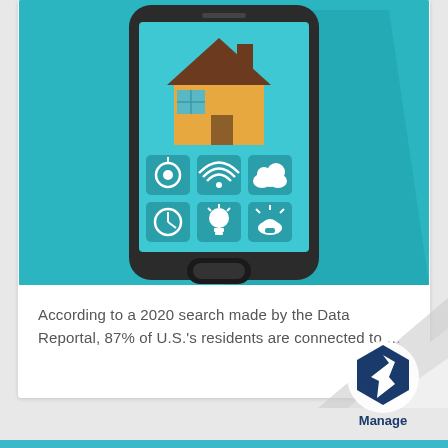[Figure (illustration): Flat design illustration of a smartphone with a smart home app interface. The phone screen shows a house icon at the top and six app icons in a 3x2 grid: safe/vault, WiFi, cloud, clock, light bulb, and alarm/siren. The background is teal/turquoise.]
According to a 2020 search made by the Data Reportal, 87% of U.S.'s residents are connected to …
[Figure (logo): Manage engine logo showing a hexagonal 'b' icon in dark blue with the text 'Manage' below it, on a curled page corner graphic.]